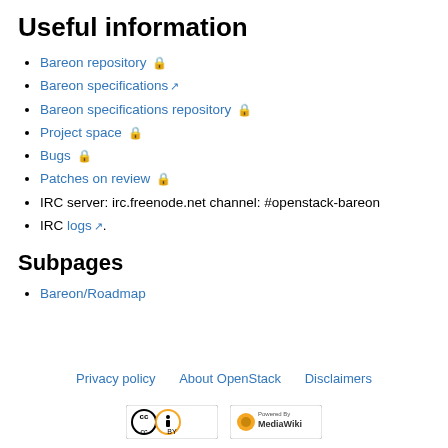Useful information
Bareon repository 🔒
Bareon specifications ↗
Bareon specifications repository 🔒
Project space 🔒
Bugs 🔒
Patches on review 🔒
IRC server: irc.freenode.net channel: #openstack-bareon
IRC logs ↗.
Subpages
Bareon/Roadmap
Privacy policy   About OpenStack   Disclaimers